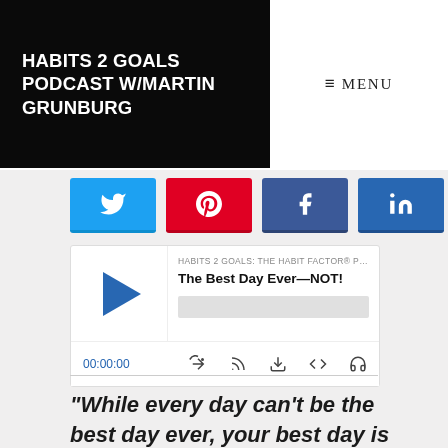HABITS 2 GOALS PODCAST W/MARTIN GRUNBURG
MENU
[Figure (screenshot): Social share buttons: Twitter (blue), Pinterest (red), Facebook (blue), LinkedIn (dark blue)]
[Figure (screenshot): Podcast player widget showing episode 'The Best Day Ever—NOT!' from HABITS 2 GOALS: THE HABIT FACTOR® PODCAST, with play button, progress bar, timestamp 00:00:00, and controls for RSS, download, embed, and headphones]
“While every day can’t be the best day ever, your best day is